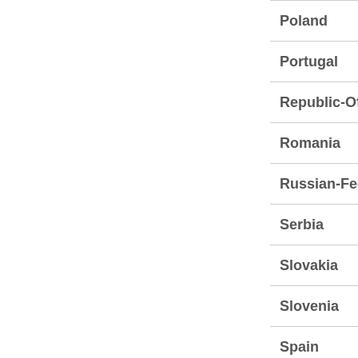| Poland |
| Portugal |
| Republic-Of-Mold... |
| Romania |
| Russian-Federatio... |
| Serbia |
| Slovakia |
| Slovenia |
| Spain |
| Sweden |
| Switzerland |
| Tajikistan |
| Turkey |